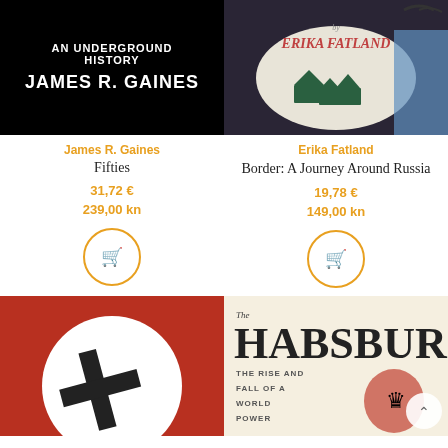[Figure (illustration): Book cover: black background with white text 'AN UNDERGROUND HISTORY' and 'JAMES R. GAINES']
James R. Gaines
Fifties
31,72 €
239,00 kn
[Figure (illustration): Book cover: Erika Fatland - colorful illustrated cover with huts and water, dark background]
Erika Fatland
Border: A Journey Around Russia
19,78 €
149,00 kn
[Figure (illustration): Book cover: red background with partial Nazi swastika symbol visible - likely a history book]
[Figure (illustration): Book cover: 'The Habsburgs - The Rise and Fall of a World Power' on light background with crest illustration]